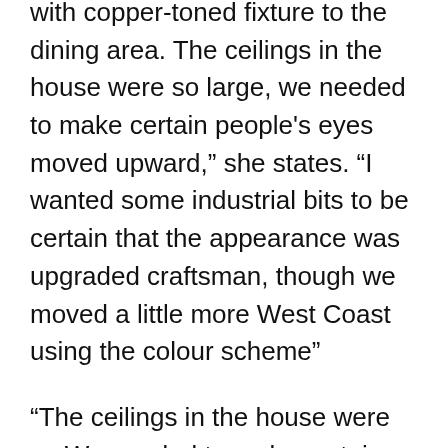with copper-toned fixture to the dining area. The ceilings in the house were so large, we needed to make certain people's eyes moved upward," she states. "I wanted some industrial bits to be certain that the appearance was upgraded craftsman, though we moved a little more West Coast using the colour scheme"
"The ceilings in the house were so We needed to make certain people's eyes moved upward"
Speaking of colour schemes, nothing Is as daring as the kid's room, that has colour, texture, and layout all at one time. "I love to think about colour as organized chaos to get a kids' area," says Finley, that went over and beyond to actually have some pleasure in the area. The teal